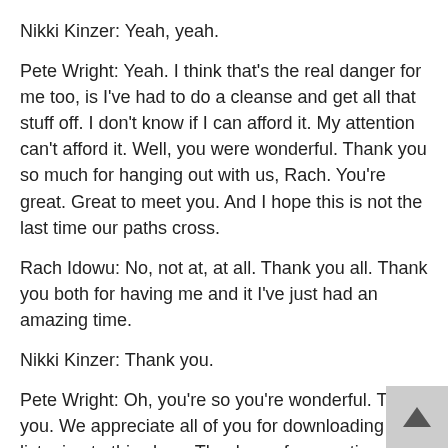Nikki Kinzer: Yeah, yeah.
Pete Wright: Yeah. I think that's the real danger for me too, is I've had to do a cleanse and get all that stuff off. I don't know if I can afford it. My attention can't afford it. Well, you were wonderful. Thank you so much for hanging out with us, Rach. You're great. Great to meet you. And I hope this is not the last time our paths cross.
Rach Idowu: No, not at, at all. Thank you all. Thank you both for having me and it I've just had an amazing time.
Nikki Kinzer: Thank you.
Pete Wright: Oh, you're so you're wonderful. Thank you. We appreciate all of you for downloading and listening to this show. Thank you for your time and your attention. Don't forget, if you have something to contribute to this conversation, we're heading over to the show talk channel in the discord server and you can join us right